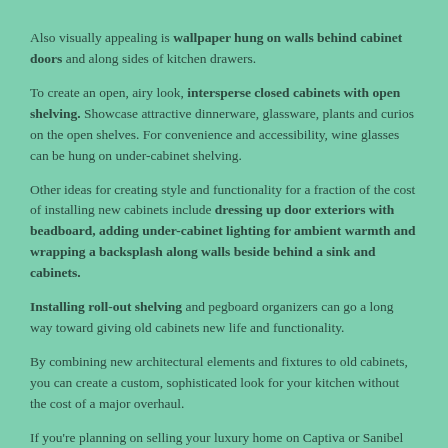Also visually appealing is wallpaper hung on walls behind cabinet doors and along sides of kitchen drawers.
To create an open, airy look, intersperse closed cabinets with open shelving. Showcase attractive dinnerware, glassware, plants and curios on the open shelves. For convenience and accessibility, wine glasses can be hung on under-cabinet shelving.
Other ideas for creating style and functionality for a fraction of the cost of installing new cabinets include dressing up door exteriors with beadboard, adding under-cabinet lighting for ambient warmth and wrapping a backsplash along walls beside behind a sink and cabinets.
Installing roll-out shelving and pegboard organizers can go a long way toward giving old cabinets new life and functionality.
By combining new architectural elements and fixtures to old cabinets, you can create a custom, sophisticated look for your kitchen without the cost of a major overhaul.
If you're planning on selling your luxury home on Captiva or Sanibel Island this year, give us a call. Would love to offer tips and suggestions on how we market your home and present it to potential vacation buyers or full time residents.
First Name: